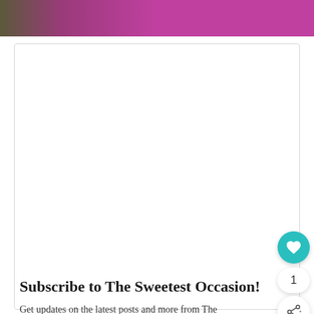[Figure (photo): Cropped photo strip showing pink/magenta floral or purple background fading from dark olive on the left to bright magenta/pink on the right]
[Figure (screenshot): White card/panel with rounded border containing empty whitespace, a teal heart button with count of 1, a share icon button, a bold subscription heading, and introductory text]
Subscribe to The Sweetest Occasion!
Get updates on the latest posts and more from The